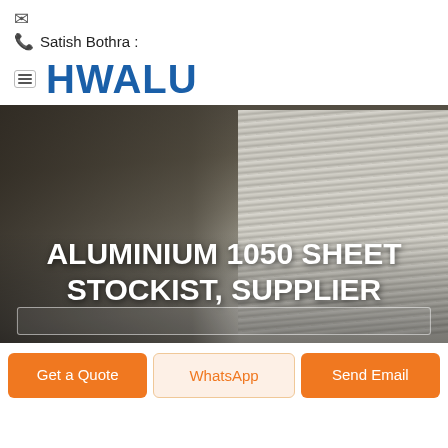✉ 📞 Satish Bothra :
[Figure (logo): HWALU logo in bold blue text with hamburger menu icon]
[Figure (photo): Stack of aluminium sheets photographed from above-side angle, dark background with overlaid white bold text reading ALUMINIUM 1050 SHEET STOCKIST, SUPPLIER]
ALUMINIUM 1050 SHEET STOCKIST, SUPPLIER
Get a Quote
WhatsApp
Send Email